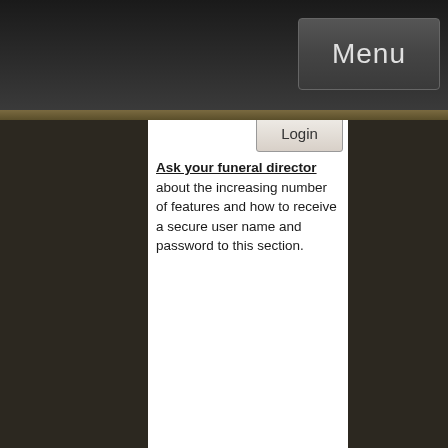Menu
Ask your funeral director about the increasing number of features and how to receive a secure user name and password to this section.